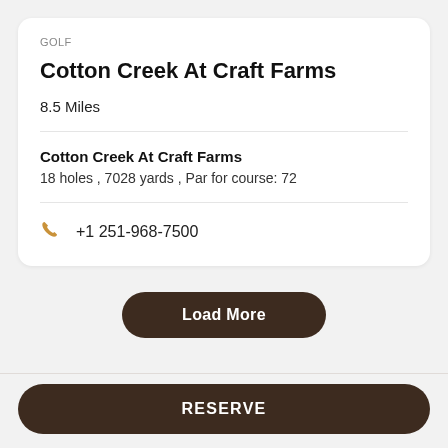GOLF
Cotton Creek At Craft Farms
8.5 Miles
Cotton Creek At Craft Farms
18 holes , 7028 yards , Par for course: 72
+1 251-968-7500
Load More
RESERVE